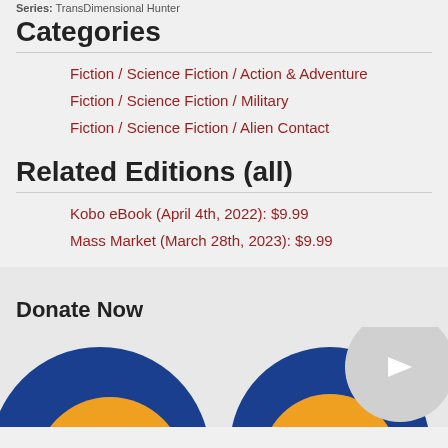Series: TransDimensional Hunter
Categories
Fiction / Science Fiction / Action & Adventure
Fiction / Science Fiction / Military
Fiction / Science Fiction / Alien Contact
Related Editions (all)
Kobo eBook (April 4th, 2022): $9.99
Mass Market (March 28th, 2023): $9.99
Donate Now
[Figure (logo): Circular logo with blue outer ring, orange inner circle, and a grey circle with arrow in corner]